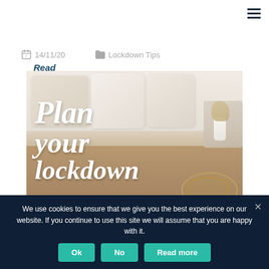Read more...
14/11/20   Lockdown Tips
[Figure (photo): Hero image of a couch with white pillows and cursive script text reading 'Plan your lockdown']
We use cookies to ensure that we give you the best experience on our website. If you continue to use this site we will assume that you are happy with it.